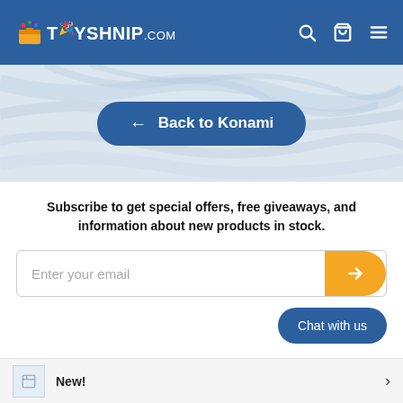TOYSHNIP.com
[Figure (screenshot): Marble background banner with a dark blue pill-shaped button labeled '← Back to Konami']
Subscribe to get special offers, free giveaways, and information about new products in stock.
Enter your email
Chat with us
New!